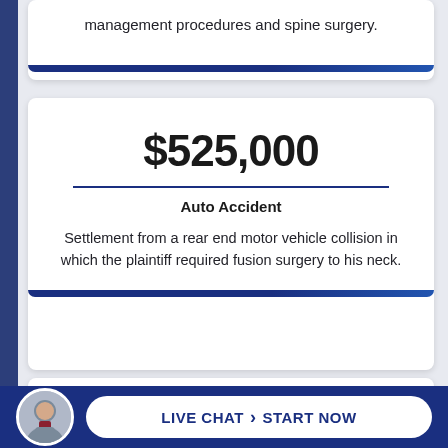management procedures and spine surgery.
$525,000
Auto Accident
Settlement from a rear end motor vehicle collision in which the plaintiff required fusion surgery to his neck.
$700,000
Auto Accident
LIVE CHAT › START NOW